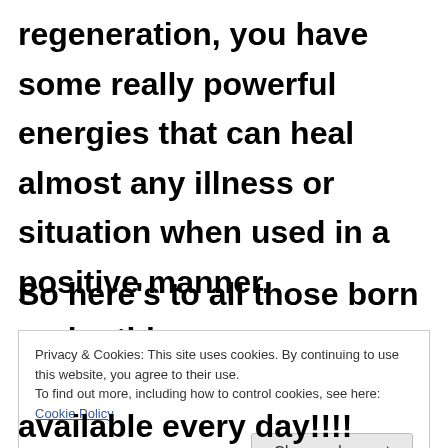regeneration, you have some really powerful energies that can heal almost any illness or situation when used in a positive manner.
So here’s to all those born under this
Privacy & Cookies: This site uses cookies. By continuing to use this website, you agree to their use.
To find out more, including how to control cookies, see here: Cookie Policy
available every day!!!!